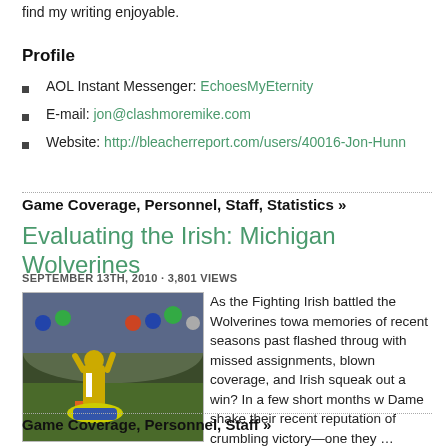find my writing enjoyable.
Profile
AOL Instant Messenger: EchoesMyEternity
E-mail: jon@clashmoremike.com
Website: http://bleacherreport.com/users/40016-Jon-Hunn
Game Coverage, Personnel, Staff, Statistics »
Evaluating the Irish: Michigan Wolverines
SEPTEMBER 13TH, 2010 · 3,801 VIEWS
[Figure (photo): Football game photo showing Notre Dame player celebrating near end zone with crowd in background]
As the Fighting Irish battled the Wolverines towa memories of recent seasons past flashed through with missed assignments, blown coverage, and Irish squeak out a win? In a few short months wi Dame shake their recent reputation of crumbling victory—one they ...
Game Coverage, Personnel, Staff »